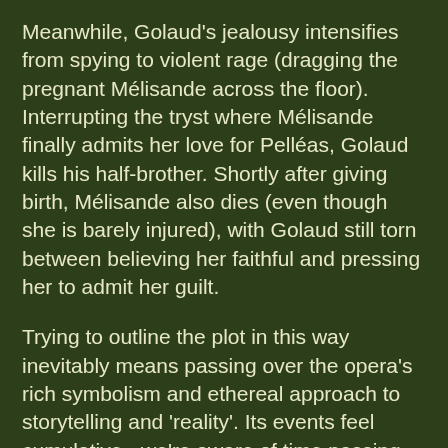Meanwhile, Golaud's jealousy intensifies from spying to violent rage (dragging the pregnant Mélisande across the floor). Interrupting the tryst where Mélisande finally admits her love for Pelléas, Golaud kills his half-brother. Shortly after giving birth, Mélisande also dies (even though she is barely injured), with Golaud still torn between believing her faithful and pressing her to admit her guilt.
Trying to outline the plot in this way inevitably means passing over the opera's rich symbolism and ethereal approach to storytelling and 'reality'. Its events feel cumulative - we're aware of time passing and unseen exchanges between, and sometimes during, the acts - and we build our overall picture from what can feel like impressionistic scenes. This sense of 'disconnect' allows the characters to remain unpredictable throughout, their feelings and motives sometimes shifting, never letting us fully second-guess their intentions.
Here the performers really came into their own. CS was a revelation (I had never seen her in a fully-staged opera before). Her ability to convey lightning mood changes and